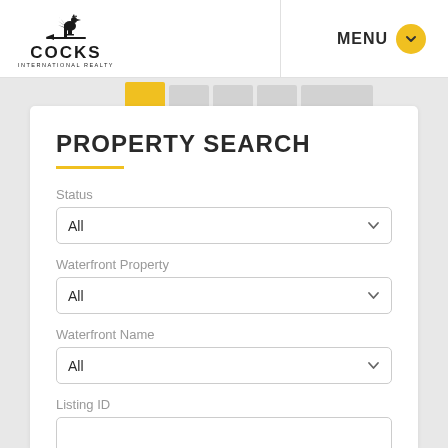[Figure (logo): Cocks International Realty logo with rooster weathervane icon above the text COCKS INTERNATIONAL REALTY]
MENU
PROPERTY SEARCH
Status
All
Waterfront Property
All
Waterfront Name
All
Listing ID